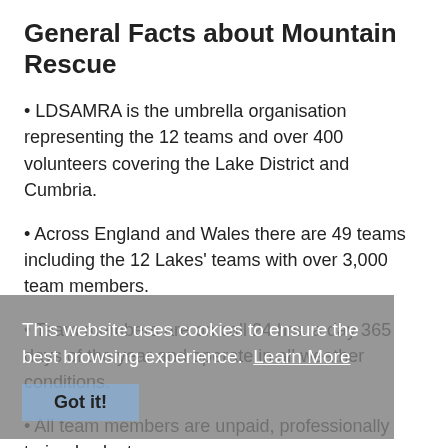General Facts about Mountain Rescue
• LDSAMRA is the umbrella organisation representing the 12 teams and over 400 volunteers covering the Lake District and Cumbria.
• Across England and Wales there are 49 teams including the 12 Lakes' teams with over 3,000 team members.
• Team members are on call 24 hrs. a day 365 days of the year and operate in all weather conditions.
• All team members are unpaid, professionally trained volunteers.
• Majority of team members have full time day jobs, over 70 include NHS health care professionals, care staff and frontline police officers
• Both men and women are actively involved in mountain…